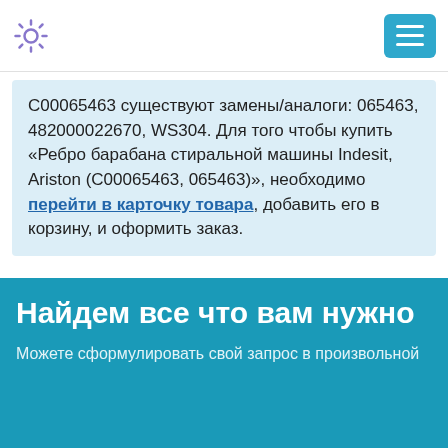[Figure (screenshot): Navigation header with gear/settings icon on the left and teal hamburger menu button on the right]
C00065463 существуют замены/аналоги: 065463, 482000022670, WS304. Для того чтобы купить «Ребро барабана стиральной машины Indesit, Ariston (C00065463, 065463)», необходимо перейти в карточку товара, добавить его в корзину, и оформить заказ.
Найдем все что вам нужно
Можете сформулировать свой запрос в произвольной